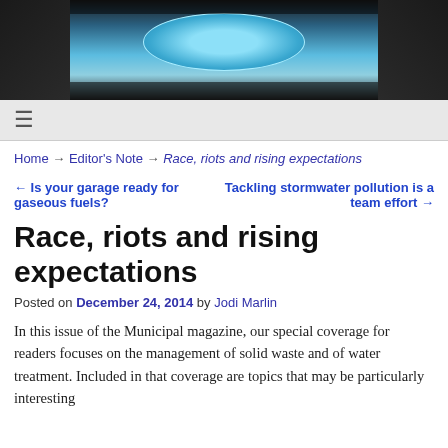[Figure (photo): Aerial photo of a pool or water feature with dark surroundings and people visible as shadows]
≡
Home → Editor's Note → Race, riots and rising expectations
← Is your garage ready for gaseous fuels?   Tackling stormwater pollution is a team effort →
Race, riots and rising expectations
Posted on December 24, 2014 by Jodi Marlin
In this issue of the Municipal magazine, our special coverage for readers focuses on the management of solid waste and of water treatment. Included in that coverage are topics that may be particularly interesting